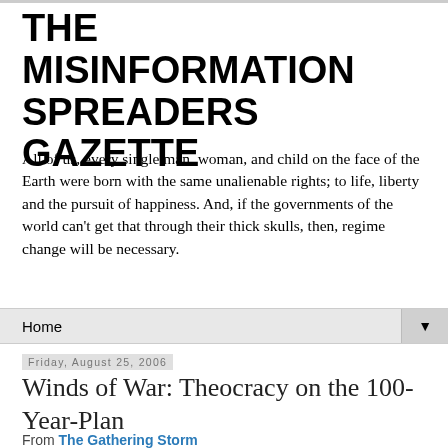THE MISINFORMATION SPREADERS GAZETTE
All of us, every single man, woman, and child on the face of the Earth were born with the same unalienable rights; to life, liberty and the pursuit of happiness. And, if the governments of the world can't get that through their thick skulls, then, regime change will be necessary.
Home ▼
Friday, August 25, 2006
Winds of War: Theocracy on the 100-Year-Plan
From The Gathering Storm
“It isn’t a "war on terror" any more than the European theater